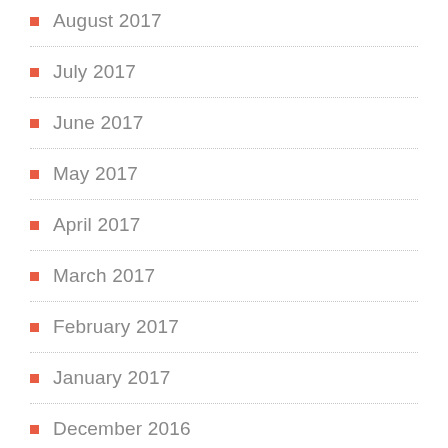August 2017
July 2017
June 2017
May 2017
April 2017
March 2017
February 2017
January 2017
December 2016
November 2016
October 2016